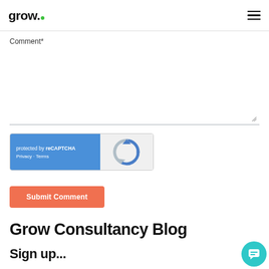grow.
Comment*
[Figure (other): reCAPTCHA widget with blue left panel showing 'protected by reCAPTCHA', Privacy - Terms links, and grey right panel with reCAPTCHA logo]
Submit Comment
Grow Consultancy Blog
Sign up...